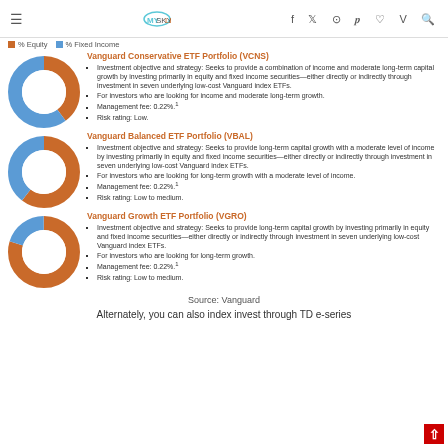MySkyList
[Figure (donut-chart): Vanguard Conservative ETF Portfolio (VCNS)]
Vanguard Conservative ETF Portfolio (VCNS)
Investment objective and strategy: Seeks to provide a combination of income and moderate long-term capital growth by investing primarily in equity and fixed income securities—either directly or indirectly through investment in seven underlying low-cost Vanguard index ETFs.
For investors who are looking for income and moderate long-term growth.
Management fee: 0.22%.¹
Risk rating: Low.
[Figure (donut-chart): Vanguard Balanced ETF Portfolio (VBAL)]
Vanguard Balanced ETF Portfolio (VBAL)
Investment objective and strategy: Seeks to provide long-term capital growth with a moderate level of income by investing primarily in equity and fixed income securities—either directly or indirectly through investment in seven underlying low-cost Vanguard index ETFs.
For investors who are looking for long-term growth with a moderate level of income.
Management fee: 0.22%.¹
Risk rating: Low to medium.
[Figure (donut-chart): Vanguard Growth ETF Portfolio (VGRO)]
Vanguard Growth ETF Portfolio (VGRO)
Investment objective and strategy: Seeks to provide long-term capital growth by investing primarily in equity and fixed income securities—either directly or indirectly through investment in seven underlying low-cost Vanguard index ETFs.
For investors who are looking for long-term growth.
Management fee: 0.22%.¹
Risk rating: Low to medium.
Source: Vanguard
Alternately, you can also index invest through TD e-series